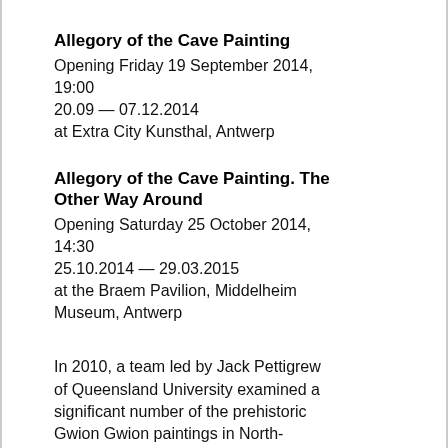Allegory of the Cave Painting
Opening Friday 19 September 2014, 19:00
20.09 — 07.12.2014
at Extra City Kunsthal, Antwerp
Allegory of the Cave Painting. The Other Way Around
Opening Saturday 25 October 2014, 14:30
25.10.2014 — 29.03.2015
at the Braem Pavilion, Middelheim Museum, Antwerp
In 2010, a team led by Jack Pettigrew of Queensland University examined a significant number of the prehistoric Gwion Gwion paintings in North-Western Australia, aiming to